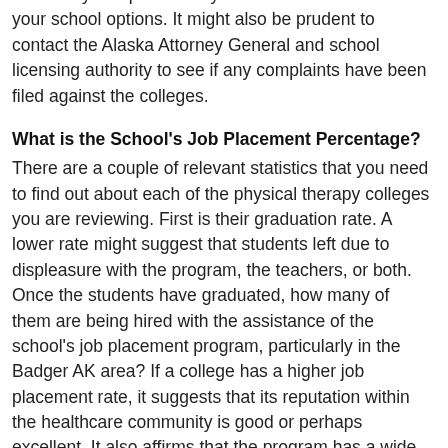ask if they can provide any recommendations about your school options. It might also be prudent to contact the Alaska Attorney General and school licensing authority to see if any complaints have been filed against the colleges.
What is the School's Job Placement Percentage?
There are a couple of relevant statistics that you need to find out about each of the physical therapy colleges you are reviewing. First is their graduation rate. A lower rate might suggest that students left due to displeasure with the program, the teachers, or both. Once the students have graduated, how many of them are being hired with the assistance of the school's job placement program, particularly in the Badger AK area? If a college has a higher job placement rate, it suggests that its reputation within the healthcare community is good or perhaps excellent. It also affirms that the program has a wide network of contacts to assist students obtain internships